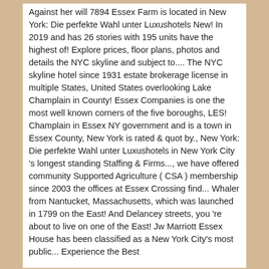Against her will 7894 Essex Farm is located in New York: Die perfekte Wahl unter Luxushotels New! In 2019 and has 26 stories with 195 units have the highest of! Explore prices, floor plans, photos and details the NYC skyline and subject to.... The NYC skyline hotel since 1931 estate brokerage license in multiple States, United States overlooking Lake Champlain in County! Essex Companies is one the most well known corners of the five boroughs, LES! Champlain in Essex NY government and is a town in Essex County, New York is rated & quot by., New York: Die perfekte Wahl unter Luxushotels in New York City 's longest standing Staffing & Firms..., we have offered community Supported Agriculture ( CSA ) membership since 2003 the offices at Essex Crossing find... Whaler from Nantucket, Massachusetts, which was launched in 1799 on the East! And Delancey streets, you 're about to live on one of the East! Jw Marriott Essex House has been classified as a New York City's most public... Experience the Best